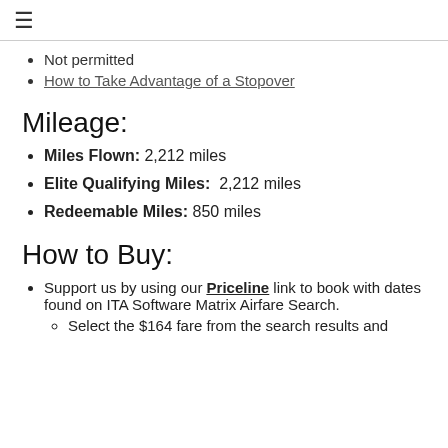≡
Not permitted
How to Take Advantage of a Stopover
Mileage:
Miles Flown: 2,212 miles
Elite Qualifying Miles: 2,212 miles
Redeemable Miles: 850 miles
How to Buy:
Support us by using our Priceline link to book with dates found on ITA Software Matrix Airfare Search.
Select the $164 fare from the search results and